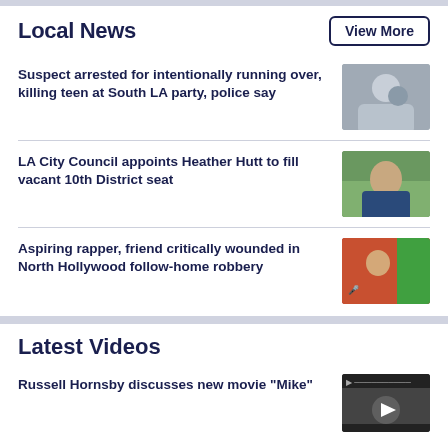Local News
View More
Suspect arrested for intentionally running over, killing teen at South LA party, police say
[Figure (photo): Photo of a young person outdoors]
LA City Council appoints Heather Hutt to fill vacant 10th District seat
[Figure (photo): Photo of a woman smiling outdoors]
Aspiring rapper, friend critically wounded in North Hollywood follow-home robbery
[Figure (photo): Photo of a person in front of graffiti wall]
Latest Videos
Russell Hornsby discusses new movie "Mike"
[Figure (screenshot): Video thumbnail with play button]